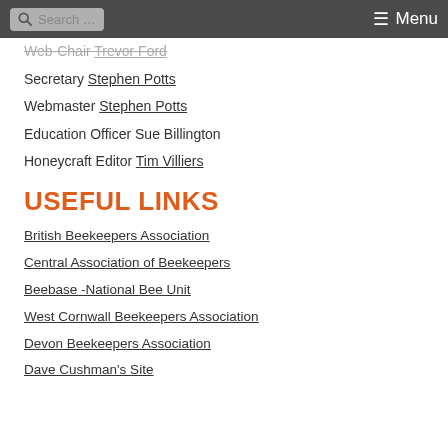Search … ☰ Menu
Web-Chair Trevor Ford
Secretary Stephen Potts
Webmaster Stephen Potts
Education Officer Sue Billington
Honeycraft Editor Tim Villiers
USEFUL LINKS
British Beekeepers Association
Central Association of Beekeepers
Beebase -National Bee Unit
West Cornwall Beekeepers Association
Devon Beekeepers Association
Dave Cushman's Site